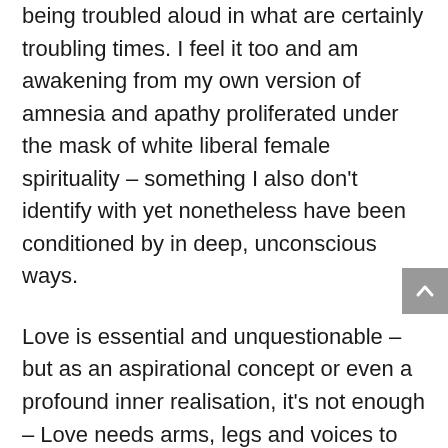being troubled aloud in what are certainly troubling times. I feel it too and am awakening from my own version of amnesia and apathy proliferated under the mask of white liberal female spirituality – something I also don't identify with yet nonetheless have been conditioned by in deep, unconscious ways.
Love is essential and unquestionable – but as an aspirational concept or even a profound inner realisation, it's not enough – Love needs arms, legs and voices to bring its form into a world that is crying out for action, real-life impact and change, radical